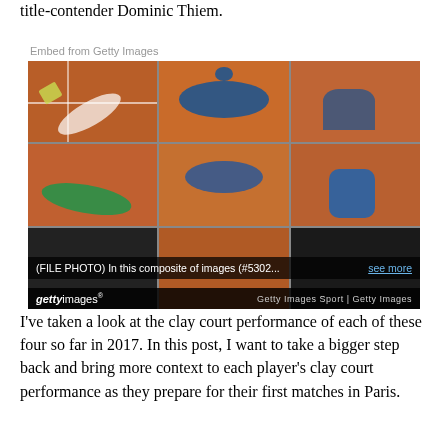title-contender Dominic Thiem.
[Figure (photo): Getty Images embed showing a composite of 9 photos of Rafael Nadal celebrating French Open victories on clay court, players lying/kneeling on the orange clay surface. Caption reads: (FILE PHOTO) In this composite of images (#5302... see more). Getty Images Sport | Getty Images]
I've taken a look at the clay court performance of each of these four so far in 2017. In this post, I want to take a bigger step back and bring more context to each player's clay court performance as they prepare for their first matches in Paris.